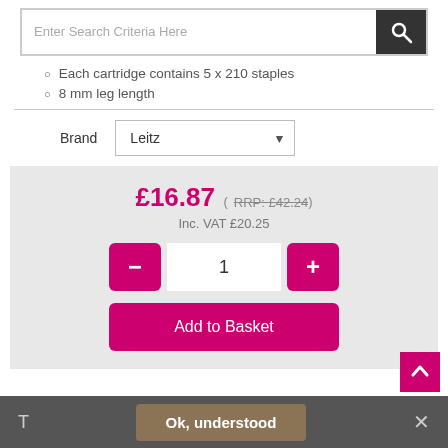[Figure (screenshot): Search bar with text input placeholder 'Enter Search Criteria Here' and dark search button with magnifying glass icon]
Each cartridge contains 5 x 210 staples
8 mm leg length
Brand   Leitz
£16.87 (RRP: £42.24) Inc. VAT £20.25
1
Add to Basket
Ok, understood